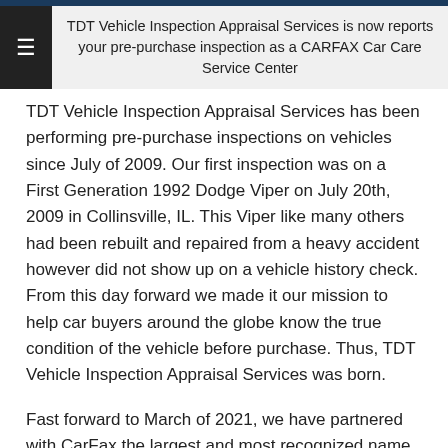TDT Vehicle Inspection Appraisal Services is now reports your pre-purchase inspection as a CARFAX Car Care Service Center
TDT Vehicle Inspection Appraisal Services has been performing pre-purchase inspections on vehicles since July of 2009. Our first inspection was on a First Generation 1992 Dodge Viper on July 20th, 2009 in Collinsville, IL. This Viper like many others had been rebuilt and repaired from a heavy accident however did not show up on a vehicle history check. From this day forward we made it our mission to help car buyers around the globe know the true condition of the vehicle before purchase. Thus, TDT Vehicle Inspection Appraisal Services was born.
Fast forward to March of 2021, we have partnered with CarFax the largest and most recognized name in vehicle history reports, to provide our CarFax with our brief inspection findings (cosmetic, frame damage, major